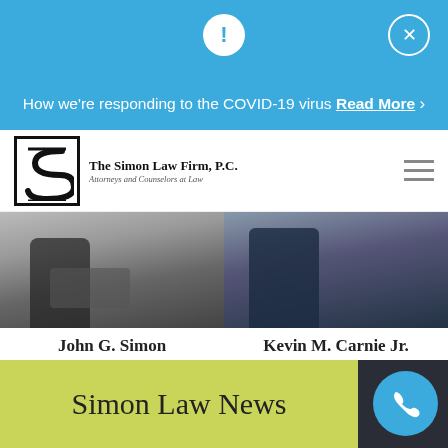How we're responding to the COVID-19 virus Read More >
[Figure (logo): The Simon Law Firm, P.C. logo with stylized S and text 'Attorneys and Counselors at Law']
[Figure (photo): Photo of attorney John G. Simon holding documents]
John G. Simon
[Figure (photo): Photo of attorney Kevin M. Carnie Jr. in blue suit]
Kevin M. Carnie Jr.
Simon Law News